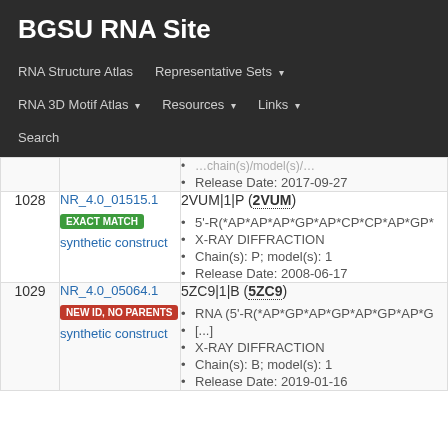BGSU RNA Site
RNA Structure Atlas | Representative Sets ▾ | RNA 3D Motif Atlas ▾ | Resources ▾ | Links ▾ | Search
Release Date: 2017-09-27
| # | ID | Detail |
| --- | --- | --- |
| 1028 | NR_4.0_01515.1 EXACT MATCH synthetic construct | 2VUM|1|P (2VUM)
• 5'-R(*AP*AP*AP*GP*AP*CP*CP*AP*GP
• X-RAY DIFFRACTION
• Chain(s): P; model(s): 1
• Release Date: 2008-06-17 |
| 1029 | NR_4.0_05064.1 NEW ID, NO PARENTS synthetic construct | 5ZC9|1|B (5ZC9)
• RNA (5'-R(*AP*GP*AP*GP*AP*GP*AP*G [...]
• X-RAY DIFFRACTION
• Chain(s): B; model(s): 1
• Release Date: 2019-01-16 |